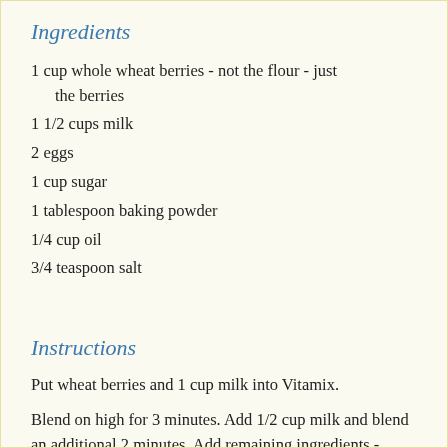Ingredients
1 cup whole wheat berries - not the flour - just the berries
1 1/2 cups milk
2 eggs
1 cup sugar
1 tablespoon baking powder
1/4 cup oil
3/4 teaspoon salt
Instructions
Put wheat berries and 1 cup milk into Vitamix.
Blend on high for 3 minutes. Add 1/2 cup milk and blend an additional 2 minutes. Add remaining ingredients - blending quickly — and